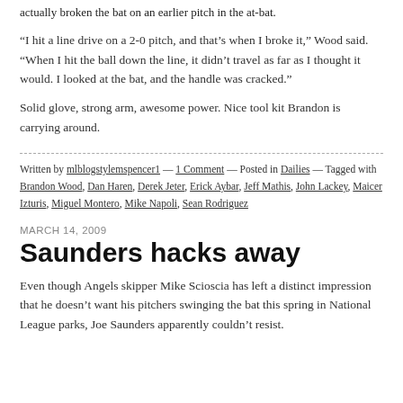actually broken the bat on an earlier pitch in the at-bat.
“I hit a line drive on a 2-0 pitch, and that’s when I broke it,” Wood said. “When I hit the ball down the line, it didn’t travel as far as I thought it would. I looked at the bat, and the handle was cracked.”
Solid glove, strong arm, awesome power. Nice tool kit Brandon is carrying around.
Written by mlblogstylemspencer1 — 1 Comment — Posted in Dailies — Tagged with Brandon Wood, Dan Haren, Derek Jeter, Erick Aybar, Jeff Mathis, John Lackey, Maicer Izturis, Miguel Montero, Mike Napoli, Sean Rodriguez
MARCH 14, 2009
Saunders hacks away
Even though Angels skipper Mike Scioscia has left a distinct impression that he doesn’t want his pitchers swinging the bat this spring in National League parks, Joe Saunders apparently couldn’t resist.